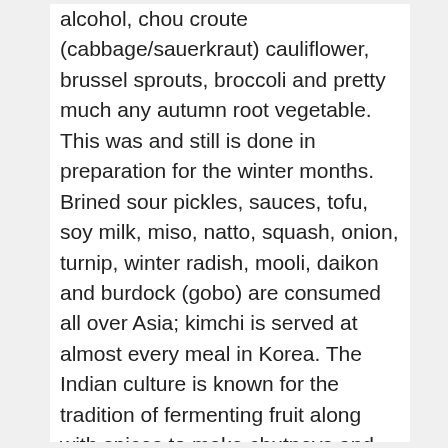alcohol, chou croute (cabbage/sauerkraut) cauliflower, brussel sprouts, broccoli and pretty much any autumn root vegetable. This was and still is done in preparation for the winter months. Brined sour pickles, sauces, tofu, soy milk, miso, natto, squash, onion, turnip, winter radish, mooli, daikon and burdock (gobo) are consumed all over Asia; kimchi is served at almost every meal in Korea. The Indian culture is known for the tradition of fermenting fruit along with spices to make chutneys and Dosa, a fermented crepe made with fermented rice batter or black lentils is a staple food in many parts of India. Jamaica has long been known for its Ginger Beer and traditional American cuisine includes many types of fermented jams and relishes such as cucumber relish, watermelon rind and even pickled cucumber jam and more well known is Raw Apple Cider